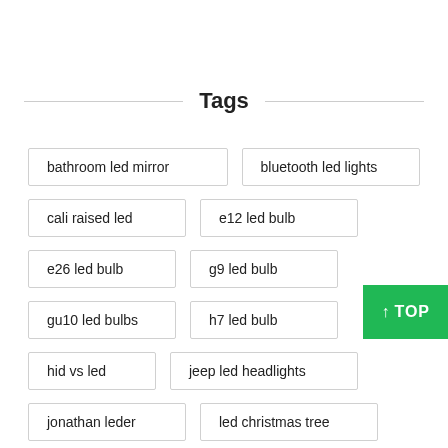Tags
bathroom led mirror
bluetooth led lights
cali raised led
e12 led bulb
e26 led bulb
g9 led bulb
gu10 led bulbs
h7 led bulb
hid vs led
jeep led headlights
jonathan leder
led christmas tree